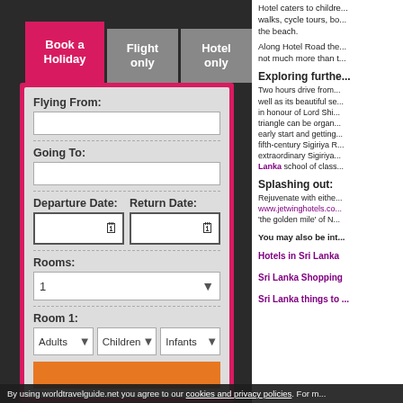[Figure (screenshot): Booking widget with tabs: Book a Holiday (active, pink), Flight only, Hotel only. Form fields: Flying From text input, Going To text input, Departure Date and Return Date with calendar icons, Rooms dropdown set to 1, Room 1 with Adults/Children/Infants dropdowns, orange search button.]
Hotel caters to children... walks, cycle tours, bo... the beach.
Exploring further
Two hours drive from... well as its beautiful se... in honour of Lord Shi... triangle can be orga... early start and getting... fifth-century Sigiriya R... extraordinary Sigiriya... Lanka school of class...
Splashing out:
Rejuvenate with eithe... www.jetwinghotels.co... 'the golden mile' of N...
You may also be int...
Hotels in Sri Lanka
Sri Lanka Shopping
Sri Lanka things to ...
By using worldtravelguide.net you agree to our cookies and privacy policies. For m...